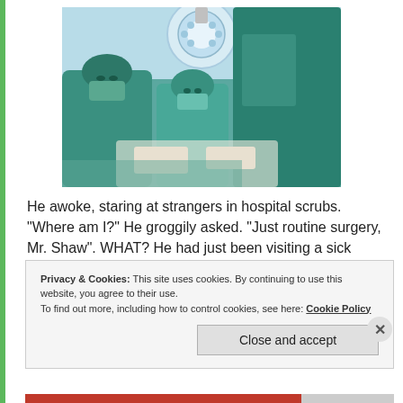[Figure (photo): Surgical team in teal/green scrubs and masks viewed from below, with large overhead operating room lights visible on the ceiling. Several surgeons are leaning over, presumably performing a procedure.]
He awoke, staring at strangers in hospital scrubs. "Where am I?" He groggily asked. "Just routine surgery, Mr. Shaw". WHAT?  He had just been visiting a sick friend. Shaw cried out " I'M NOT A PATIENT!" A surgeon
Privacy & Cookies: This site uses cookies. By continuing to use this website, you agree to their use.
To find out more, including how to control cookies, see here: Cookie Policy
Close and accept